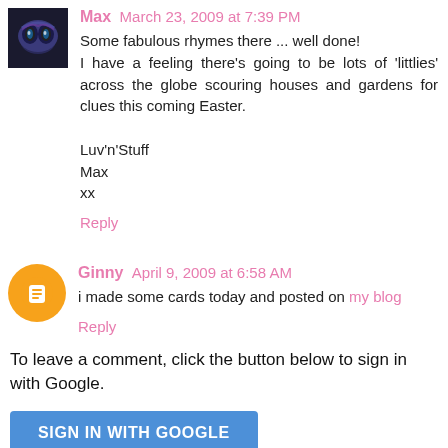Max March 23, 2009 at 7:39 PM
Some fabulous rhymes there ... well done!
I have a feeling there's going to be lots of 'littlies' across the globe scouring houses and gardens for clues this coming Easter.

Luv'n'Stuff
Max
xx
Reply
Ginny April 9, 2009 at 6:58 AM
i made some cards today and posted on my blog
Reply
To leave a comment, click the button below to sign in with Google.
SIGN IN WITH GOOGLE